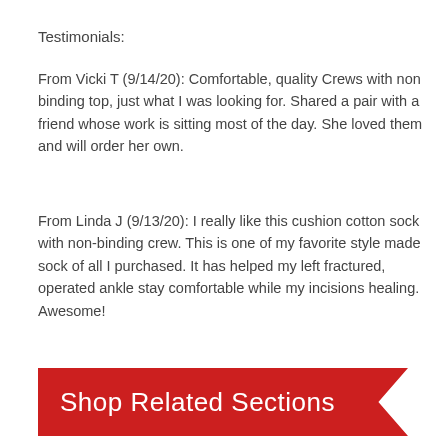Testimonials:
From Vicki T (9/14/20): Comfortable, quality Crews with non binding top, just what I was looking for. Shared a pair with a friend whose work is sitting most of the day. She loved them and will order her own.
From Linda J (9/13/20): I really like this cushion cotton sock with non-binding crew. This is one of my favorite style made sock of all I purchased. It has helped my left fractured, operated ankle stay comfortable while my incisions healing. Awesome!
Shop Related Sections